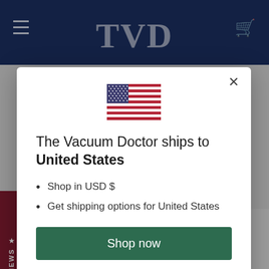[Figure (screenshot): Website navigation bar with hamburger menu, TYD logo, and cart icon on navy blue background]
[Figure (illustration): US flag emoji/icon centered in modal]
The Vacuum Doctor ships to United States
Shop in USD $
Get shipping options for United States
Shop now
Change shipping country
Sale $117,211.00 $109,995.00